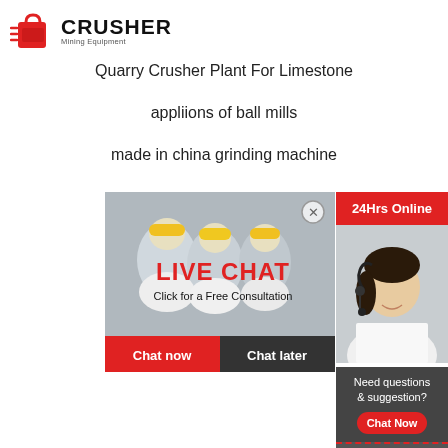[Figure (logo): Crusher Mining Equipment logo with red shopping bag icon and bold CRUSHER text]
Quarry Crusher Plant For Limestone
appliions of ball mills
made in china grinding machine
[Figure (infographic): Live Chat banner with workers in hard hats, LIVE CHAT text in red, Click for a Free Consultation, Chat now and Chat later buttons]
[Figure (infographic): Right sidebar with 24Hrs Online header, customer service representative photo, Need questions & suggestion? Chat Now button, Enquiry section, and limingjlmofen@sina.com email]